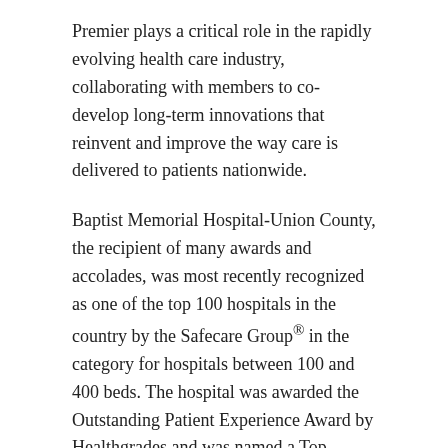Premier plays a critical role in the rapidly evolving health care industry, collaborating with members to co-develop long-term innovations that reinvent and improve the way care is delivered to patients nationwide.
Baptist Memorial Hospital-Union County, the recipient of many awards and accolades, was most recently recognized as one of the top 100 hospitals in the country by the Safecare Group® in the category for hospitals between 100 and 400 beds. The hospital was awarded the Outstanding Patient Experience Award by Healthgrades and was named a Top Performer on Key Quality Measures® by The Joint Commission, the leading accreditor of health care organizations in America, in 2012 and 2013. Baptist Union County offers a variety of health care services, including adult and pediatric inpatient services, labor and delivery, outpatient and laser surgery and a 24-hour, newly renovated emergency room. The hospital also offers telemedicine and imaging and laboratory services, including an American